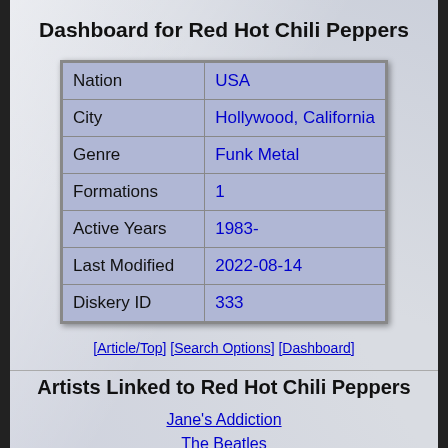Dashboard for Red Hot Chili Peppers
| Field | Value |
| --- | --- |
| Nation | USA |
| City | Hollywood, California |
| Genre | Funk Metal |
| Formations | 1 |
| Active Years | 1983- |
| Last Modified | 2022-08-14 |
| Diskery ID | 333 |
[Article/Top] [Search Options] [Dashboard]
Artists Linked to Red Hot Chili Peppers
Jane's Addiction
The Beatles